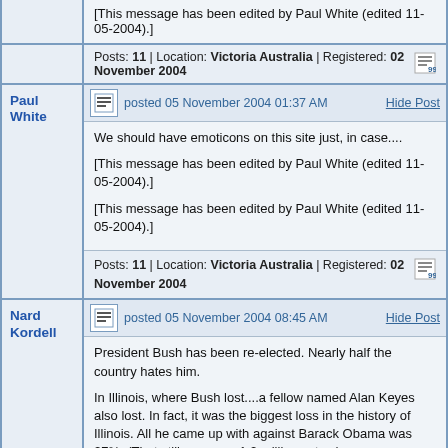[This message has been edited by Paul White (edited 11-05-2004).]
Posts: 11 | Location: Victoria Australia | Registered: 02 November 2004
Paul White
posted 05 November 2004 01:37 AM
Hide Post
We should have emoticons on this site just, in case....
[This message has been edited by Paul White (edited 11-05-2004).]
[This message has been edited by Paul White (edited 11-05-2004).]
Posts: 11 | Location: Victoria Australia | Registered: 02 November 2004
Nard Kordell
posted 05 November 2004 08:45 AM
Hide Post
President Bush has been re-elected. Nearly half the country hates him.

In Illinois, where Bush lost....a fellow named Alan Keyes also lost. In fact, it was the biggest loss in the history of Illinois. All he came up with against Barack Obama was 27%. (That still was over 1.2 million votes.)